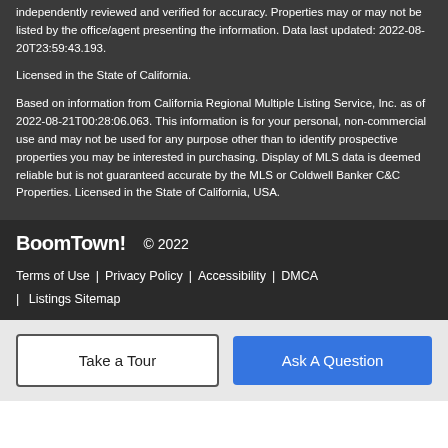independently reviewed and verified for accuracy. Properties may or may not be listed by the office/agent presenting the information. Data last updated: 2022-08-20T23:59:43.193.
Licensed in the State of California.
Based on information from California Regional Multiple Listing Service, Inc. as of 2022-08-21T00:28:06.063. This information is for your personal, non-commercial use and may not be used for any purpose other than to identify prospective properties you may be interested in purchasing. Display of MLS data is deemed reliable but is not guaranteed accurate by the MLS or Coldwell Banker C&C Properties. Licensed in the State of California, USA.
BoomTown! © 2022 | Terms of Use | Privacy Policy | Accessibility | DMCA | Listings Sitemap
Take a Tour   Ask A Question